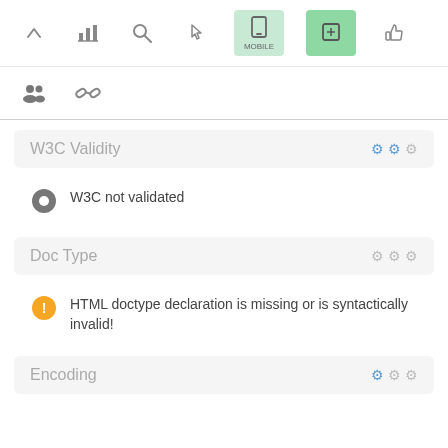[Figure (screenshot): Toolbar with icons: up arrow, bar chart, search, pointer, mobile (light green highlighted), another button (green highlighted), thumbs up]
[Figure (screenshot): Second toolbar row with group/people icon and link/chain icon]
W3C Validity
W3C not validated
Doc Type
HTML doctype declaration is missing or is syntactically invalid!
Encoding